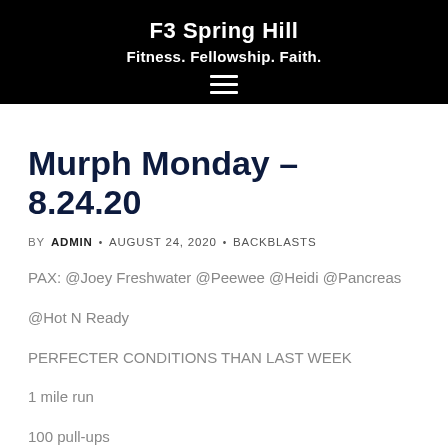F3 Spring Hill
Fitness. Fellowship. Faith.
Murph Monday – 8.24.20
BY ADMIN · AUGUST 24, 2020 · BACKBLASTS
PAX: @Joey Freshwater @Peewee @Heidi @Pancreas @Hot N Ready
PERFECTER CONDITIONS THAN LAST WEEK
1 mile run
100 pull-ups